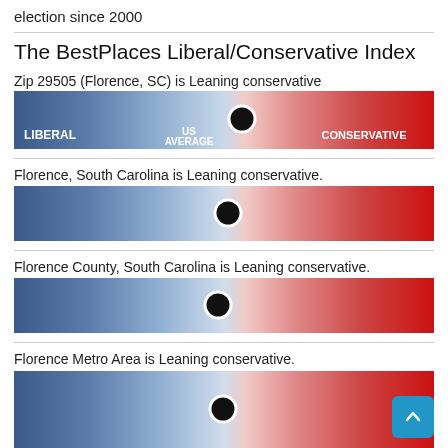election since 2000
The BestPlaces Liberal/Conservative Index
Zip 29505 (Florence, SC) is Leaning conservative
[Figure (infographic): Liberal to Conservative gradient bar with dot marker near center-right, labeled LIBERAL on left, US AVERAGE in center, CONSERVATIVE on right]
Florence, South Carolina is Leaning conservative.
[Figure (infographic): Liberal to Conservative gradient bar with dot marker at center]
Florence County, South Carolina is Leaning conservative.
[Figure (infographic): Liberal to Conservative gradient bar with dot marker slightly left of center]
Florence Metro Area is Leaning conservative.
[Figure (infographic): Liberal to Conservative gradient bar with dot marker at center, partially visible]